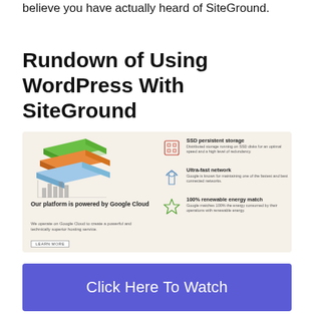believe you have actually heard of SiteGround.
Rundown of Using WordPress With SiteGround
[Figure (infographic): SiteGround infographic showing platform powered by Google Cloud with three features: SSD persistent storage, Ultra-fast network, and 100% renewable energy match. Left side shows a stacked layers illustration with bar chart below and 'Our platform is powered by Google Cloud' text with a Learn More button. Right side lists three features with icons.]
[Figure (other): Blue/purple CTA banner with text 'Click Here To Watch']